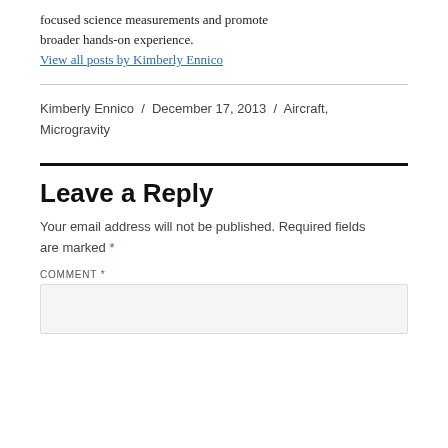focused science measurements and promote broader hands-on experience.
View all posts by Kimberly Ennico
Kimberly Ennico / December 17, 2013 / Aircraft, Microgravity
Leave a Reply
Your email address will not be published. Required fields are marked *
COMMENT *